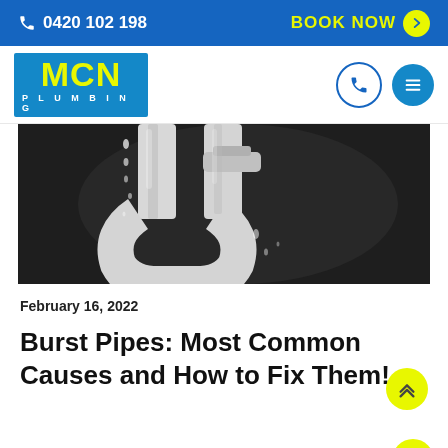0420 102 198  BOOK NOW
[Figure (logo): MCN Plumbing logo — blue background with yellow MCN text and white PLUMBING text]
[Figure (photo): Close-up photo of a white P-trap pipe with water droplets and drips against a dark background]
February 16, 2022
Burst Pipes: Most Common Causes and How to Fix Them!